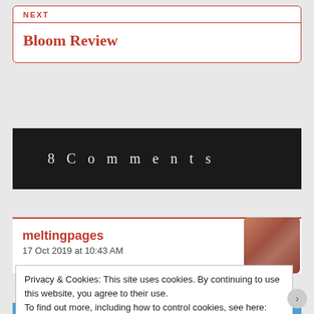NEXT
Bloom Review
8 Comments
meltingpages
17 Oct 2019 at 10:43 AM
I've seen this mentioned by a few other people and I've had
Privacy & Cookies: This site uses cookies. By continuing to use this website, you agree to their use.
To find out more, including how to control cookies, see here: Cookie Policy
Close and accept